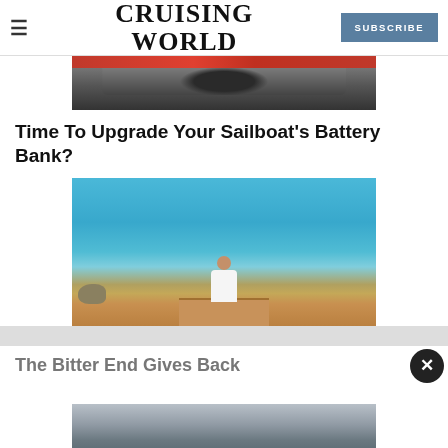CRUISING WORLD
[Figure (photo): Close-up of a motorcycle engine with dark metal parts and red bodywork visible at top]
Time To Upgrade Your Sailboat's Battery Bank?
[Figure (photo): Person in white long-sleeve shirt sitting on a wooden dock overlooking turquoise tropical water with a rocky outcrop to the left]
The Bitter End Gives Back
[Figure (photo): Partial view of a boat or sailing scene, grey/blue tones, partially visible at the bottom of the page]